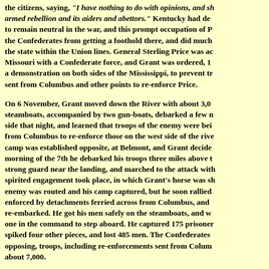the citizens, saying, "I have nothing to do with opinions, and shall deal with armed rebellion and its aiders and abettors." Kentucky had declared her wish to remain neutral in the war, and this prompt occupation of Paducah kept the Confederates from getting a foothold there, and did much toward holding the state within the Union lines. General Sterling Price was advancing into Missouri with a Confederate force, and Grant was ordered, 1 November, to make a demonstration on both sides of the Mississippi, to prevent troops being sent from Columbus and other points to re-enforce Price.
On 6 November, Grant moved down the River with about 3,000 men on steamboats, accompanied by two gun-boats, debarked a few miles below on each side that night, and learned that troops of the enemy were being transferred from Columbus to re-enforce those on the west side of the river, where their camp was established opposite, at Belmont, and Grant decided to attack it. On the morning of the 7th he debarked his troops three miles above the camp, leaving a strong guard near the landing, and marched to the attack with the rest. A spirited engagement took place, in which Grant's horse was shot under him; the enemy was routed and his camp captured, but he soon rallied, being re-enforced by detachments ferried across from Columbus, and Grant had to re-embarked. He got his men safely on the steamboats, and was the last one in the command to step aboard. He captured 175 prisoners and 2 guns, spiked four other pieces, and lost 485 men. The Confederates had opposing, troops, including re-enforcements sent from Columbus, numbering about 7,000.